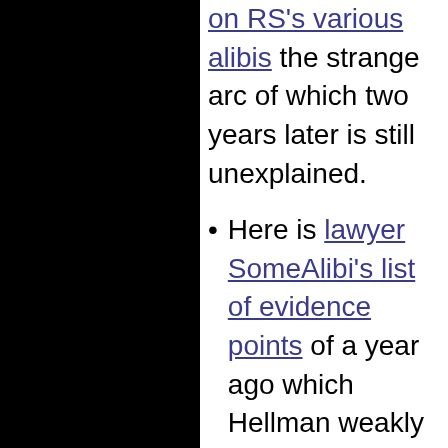on RS's various alibis the strange arc of which two years later is still unexplained.
Here is lawyer SomeAlibi's list of evidence points of a year ago which Hellman weakly rebutted or ignored and which still call for convincing